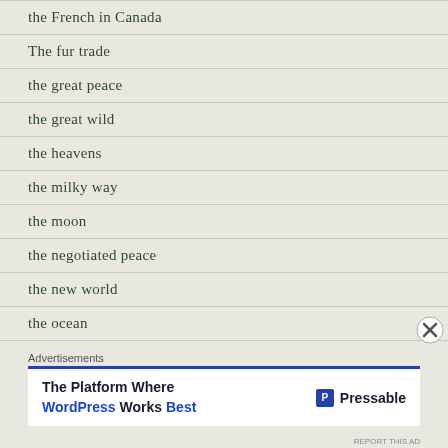the French in Canada
The fur trade
the great peace
the great wild
the heavens
the milky way
the moon
the negotiated peace
the new world
the ocean
the oceans
The Pacific Ocean
Advertisements
The Platform Where WordPress Works Best — Pressable